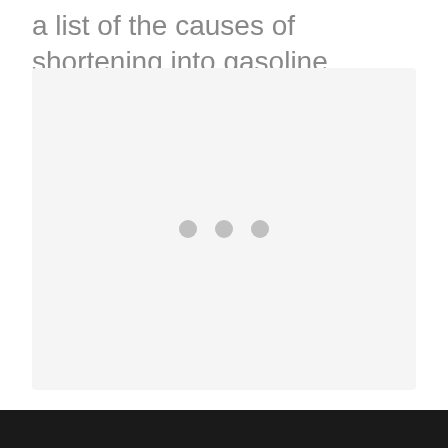a list of the causes of shortening into gasoline.
[Figure (other): A light gray placeholder box with three small gray dots in the center, indicating loading or pending content.]